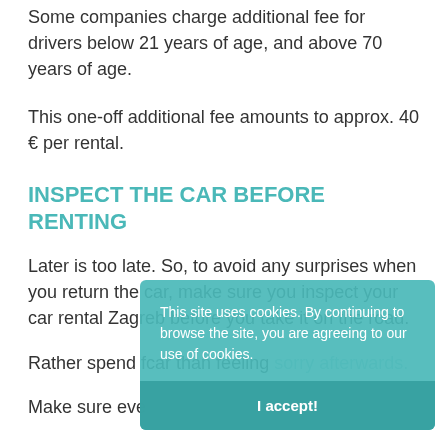Some companies charge additional fee for drivers below 21 years of age, and above 70 years of age.
This one-off additional fee amounts to approx. 40 € per rental.
INSPECT THE CAR BEFORE RENTING
Later is too late. So, to avoid any surprises when you return the car, make sure you inspect your car rental Zagreb before you take it on the road.
Rather spend f... car than feeling sorry afterwards.
Make sure even the smallest scratch is reported
[Figure (screenshot): Cookie consent overlay popup with teal background. Text: 'This site uses cookies. By continuing to browse the site, you are agreeing to our use of cookies.' with an 'I accept!' button.]